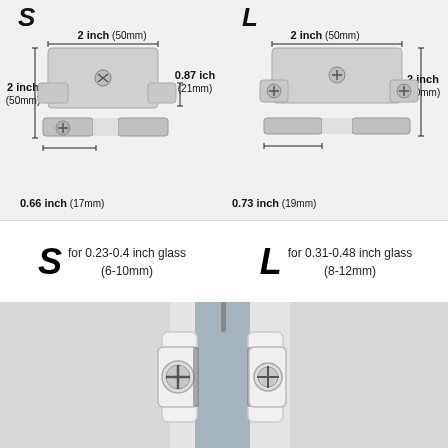[Figure (engineering-diagram): Size S bracket with dimension annotations: 2 inch (50mm) width top, 2 inch (50mm) left height, 0.87 ich (21mm) right height, 0.66 inch (17mm) bottom width. Silver/aluminum U-shaped glass clamp bracket with screw.]
[Figure (engineering-diagram): Size L bracket with dimension annotations: 2 inch (50mm) width top, 2 inch (50mm) right height, 0.73 inch (19mm) bottom width. Silver/aluminum U-shaped glass clamp bracket with two screws.]
S for 0.23-0.4 inch glass (6-10mm)
L for 0.31-0.48 inch glass (8-12mm)
[Figure (photo): Close-up photo of a white glass clamp bracket with a Phillips head screw, holding a glass panel (gray), mounted on a surface.]